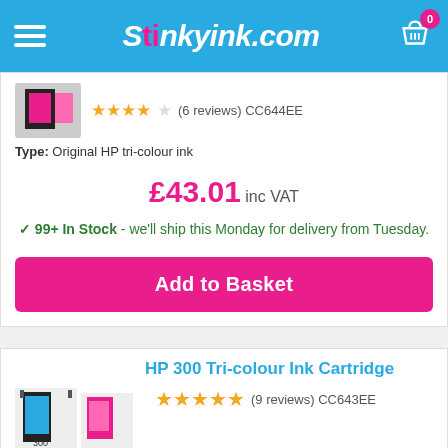Stinkyink.com
(6 reviews) CC644EE
Type: Original HP tri-colour ink
£43.01 inc VAT
✓ 99+ In Stock - we'll ship this Monday for delivery from Tuesday.
Add to Basket
HP 300 Tri-colour Ink Cartridge
(9 reviews) CC643EE
Type: Original HP tri-colour ink